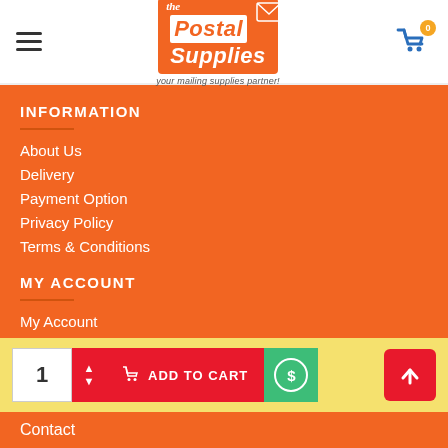the Postal Supplies — your mailing supplies partner!
INFORMATION
About Us
Delivery
Payment Option
Privacy Policy
Terms & Conditions
MY ACCOUNT
My Account
Order History
1  ADD TO CART
Contact